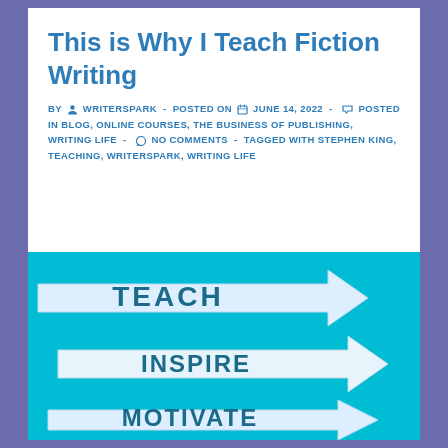This is Why I Teach Fiction Writing
BY ▾ WRITERSPARK - POSTED ON ▪ JUNE 14, 2022 - ► POSTED IN BLOG, ONLINE COURSES, THE BUSINESS OF PUBLISHING, WRITING LIFE - ◡ NO COMMENTS - TAGGED WITH STEPHEN KING, TEACHING, WRITERSPARK, WRITING LIFE
[Figure (illustration): Cyan/blue background with three white arrow signs stacked diagonally, each bearing text: TEACH (top arrow pointing right), INSPIRE (middle arrow pointing right), MOTIVATE (bottom arrow, partially visible, pointing right). The arrows are white with dark teal bold text.]